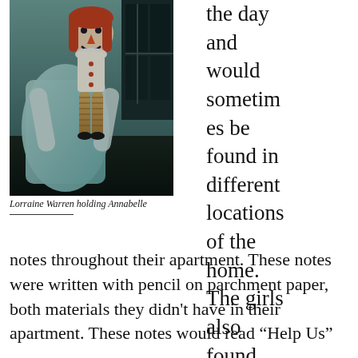[Figure (photo): A person in a light blue dress holding a Raggedy Ann style doll (Annabelle) in front of a dark window background.]
Lorraine Warren holding Annabelle
the day and would sometimes be found in different locations of the home. The girls also found notes throughout their apartment. These notes were written with pencil on parchment paper, both materials they didn't have in their apartment. These notes would read “Help Us”
[Figure (photo): Continues from top right column — partial text visible]